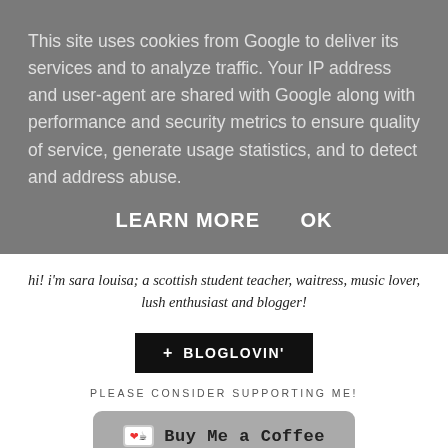This site uses cookies from Google to deliver its services and to analyze traffic. Your IP address and user-agent are shared with Google along with performance and security metrics to ensure quality of service, generate usage statistics, and to detect and address abuse.
LEARN MORE    OK
hi! i'm sara louisa; a scottish student teacher, waitress, music lover, lush enthusiast and blogger!
[Figure (logo): Bloglovin button: black rectangle with '+ BLOGLOVIN'' text in white bold capitals]
PLEASE CONSIDER SUPPORTING ME!
[Figure (other): Buy Me a Coffee button: grey rounded rectangle with coffee cup icon and text 'Buy Me a Coffee']
[Figure (other): White box outline at bottom of page]